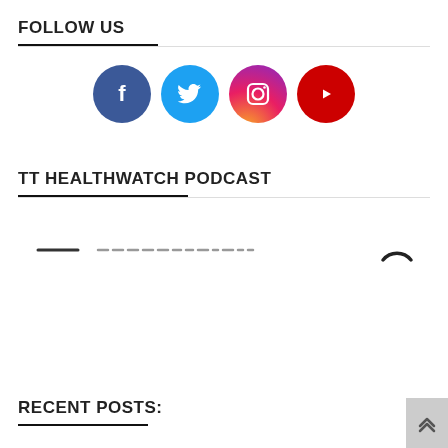FOLLOW US
[Figure (illustration): Four social media icon circles in a row: Facebook (blue), Twitter (light blue), Instagram (gradient pink/purple), YouTube (red)]
TT HEALTHWATCH PODCAST
[Figure (other): Podcast audio player widget showing a waveform/progress bar with a curved play icon on the right]
RECENT POSTS: